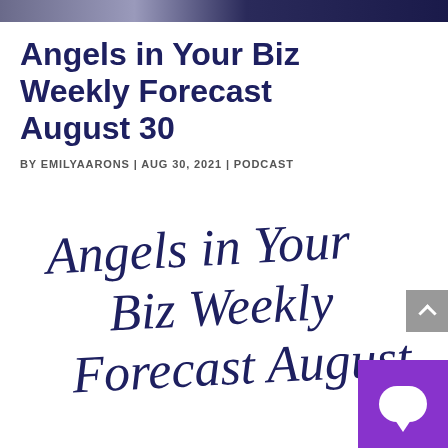[header image strip]
Angels in Your Biz Weekly Forecast August 30
BY EMILYAARONS | AUG 30, 2021 | PODCAST
[Figure (illustration): Handwritten script text reading 'Angels in Your Biz Weekly Forecast August' in dark navy cursive lettering on white background]